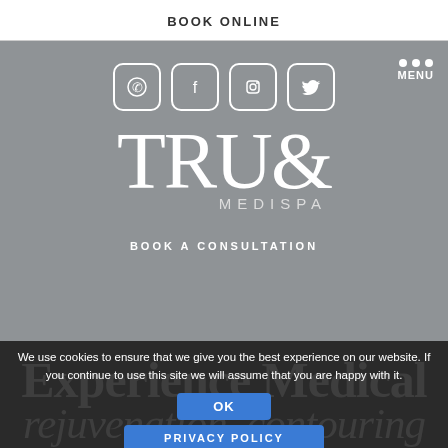BOOK ONLINE
[Figure (screenshot): True Medispa website hero section with gray background, social media icons (phone, Facebook, Instagram, Twitter), logo 'TRUE MEDISPA', and 'BOOK A CONSULTATION' link. Menu button with dots in top right.]
We use cookies to ensure that we give you the best experience on our website. If you continue to use this site we will assume that you are happy with it.
OK
PRIVACY POLICY